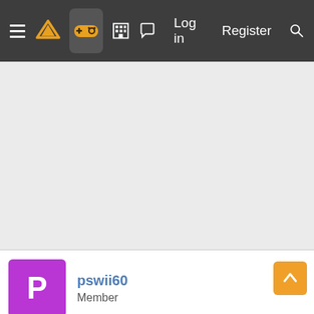Log in  Register
[Figure (screenshot): Grey empty content area below navigation bar]
pswii60
Member
Feb 18, 2008
Seriously not going to happen. For a start, MS buying Epic